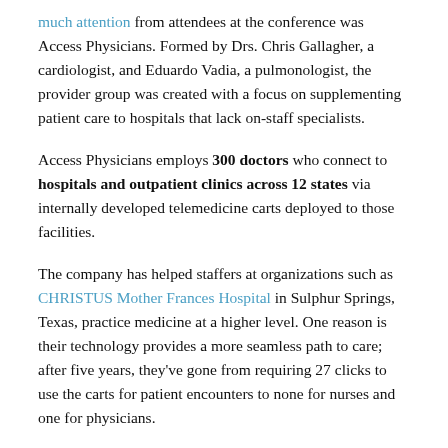much attention from attendees at the conference was Access Physicians. Formed by Drs. Chris Gallagher, a cardiologist, and Eduardo Vadia, a pulmonologist, the provider group was created with a focus on supplementing patient care to hospitals that lack on-staff specialists.
Access Physicians employs 300 doctors who connect to hospitals and outpatient clinics across 12 states via internally developed telemedicine carts deployed to those facilities.
The company has helped staffers at organizations such as CHRISTUS Mother Frances Hospital in Sulphur Springs, Texas, practice medicine at a higher level. One reason is their technology provides a more seamless path to care; after five years, they've gone from requiring 27 clicks to use the carts for patient encounters to none for nurses and one for physicians.
Offering Telemedicine Is the Right Thing to